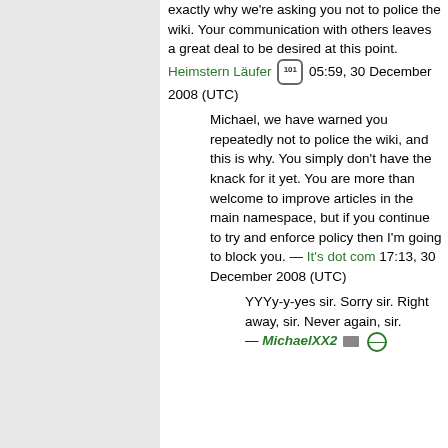exactly why we're asking you not to police the wiki. Your communication with others leaves a great deal to be desired at this point. Heimstern Läufer [101] 05:59, 30 December 2008 (UTC)
Michael, we have warned you repeatedly not to police the wiki, and this is why. You simply don't have the knack for it yet. You are more than welcome to improve articles in the main namespace, but if you continue to try and enforce policy then I'm going to block you. — It's dot com 17:13, 30 December 2008 (UTC)
YYYy-y-yes sir. Sorry sir. Right away, sir. Never again, sir. — MichaelXX2 [icon] [globe]